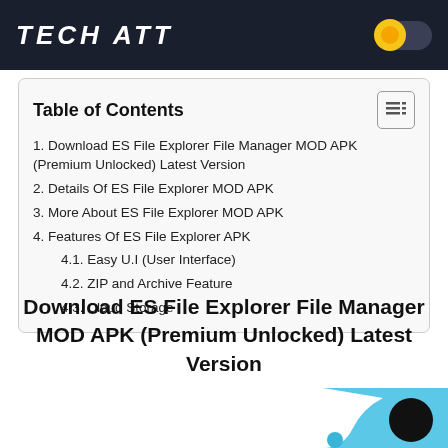TECH ATT
Table of Contents
1. Download ES File Explorer File Manager MOD APK (Premium Unlocked) Latest Version
2. Details Of ES File Explorer MOD APK
3. More About ES File Explorer MOD APK
4. Features Of ES File Explorer APK
4.1. Easy U.I (User Interface)
4.2. ZIP and Archive Feature
4.3. Cloud Storage
Download ES File Explorer File Manager MOD APK (Premium Unlocked) Latest Version
[Figure (illustration): ES File Explorer app icon showing a blue and black logo with circular elements]